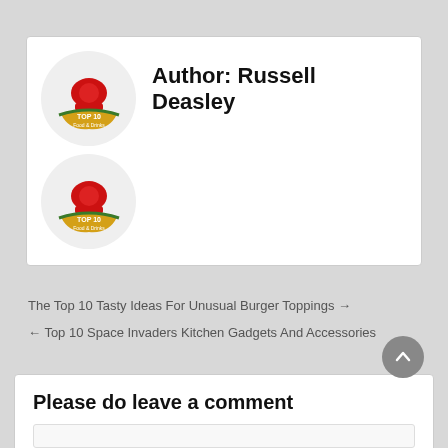Author: Russell Deasley
[Figure (logo): Top 10 Food & Drinks logo with chef hat, circular badge (appears twice)]
The Top 10 Tasty Ideas For Unusual Burger Toppings →
← Top 10 Space Invaders Kitchen Gadgets And Accessories
Please do leave a comment